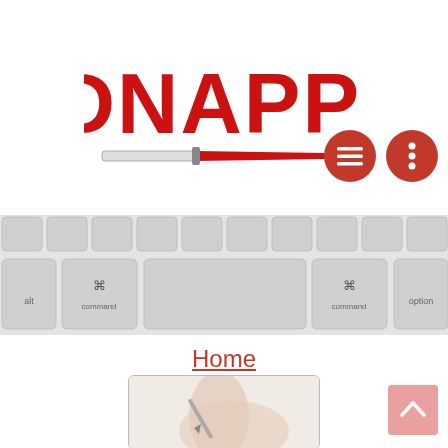[Figure (logo): KIDNAPPED logo in bold red Impact font with a knife/weapon graphic below the text]
[Figure (screenshot): Navigation icons: hamburger menu icon and vertical dots icon, both as white icons on red circular buttons]
[Figure (photo): Photo of a Mac laptop keyboard showing bottom row with option, command, spacebar, command, option keys]
Home
[Figure (photo): Photo of a hand holding a pen or stylus over a trackpad or tablet surface]
[Figure (other): Scroll-to-top button with upward arrow chevron on pink/red background]